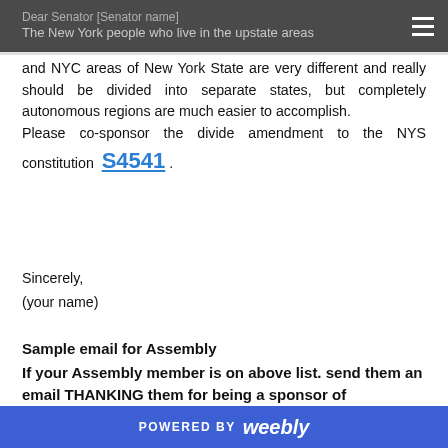Dear Senator [Senator name]
The New York people who live in the upstate areas
and NYC areas of New York State are very different and really should be divided into separate states, but completely autonomous regions are much easier to accomplish.
Please co-sponsor the divide amendment to the NYS constitution S4541 .
Sincerely,
(your name)
Sample email for Assembly
If your Assembly member is on above list. send them an email THANKING them for being a sponsor of Assemblyperson's office email click here A04446
POWERED BY weebly